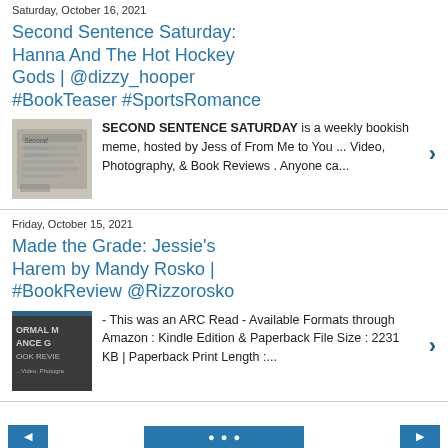Saturday, October 16, 2021
Second Sentence Saturday: Hanna And The Hot Hockey Gods | @dizzy_hooper #BookTeaser #SportsRomance
SECOND SENTENCE SATURDAY is a weekly bookish meme, hosted by Jess of From Me to You ... Video, Photography, & Book Reviews . Anyone ca...
Friday, October 15, 2021
Made the Grade: Jessie's Harem by Mandy Rosko | #BookReview @Rizzorosko
- This was an ARC Read - Available Formats through Amazon : Kindle Edition & Paperback File Size : 2231 KB | Paperback Print Length :...